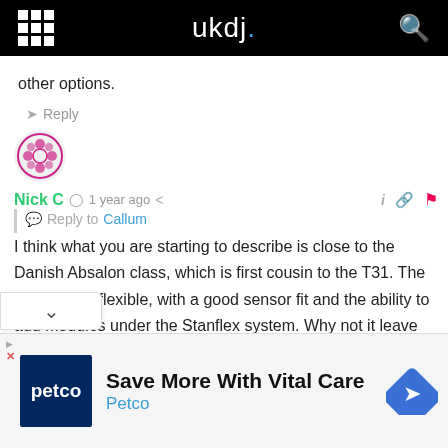ukdj.
other options.
Reply
Nick C  1 year ago  Reply to Callum
I think what you are starting to describe is close to the Danish Absalon class, which is first cousin to the T31. The ship is very flexible, with a good sensor fit and the ability to add modules under the Stanflex system. Why not it leave out the complication P, stretch the ship enough to duplicate the engine fit of the
[Figure (screenshot): Petco advertisement banner: Save More With Vital Care, Petco logo and navigation icon]